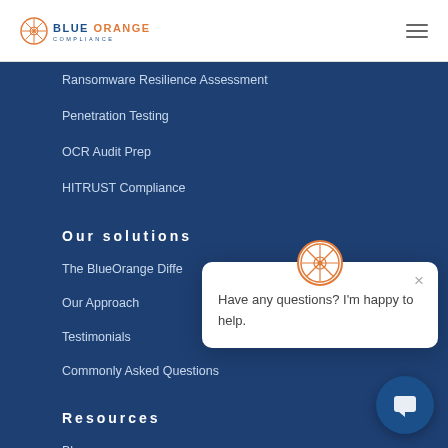BLUE ORANGE COMPLIANCE
Ransomware Resilience Assessment
Penetration Testing
OCR Audit Prep
HITRUST Compliance
Our solutions
The BlueOrange Difference
Our Approach
Testimonials
Commonly Asked Questions
Resources
Blog
Have any questions? I'm happy to help.